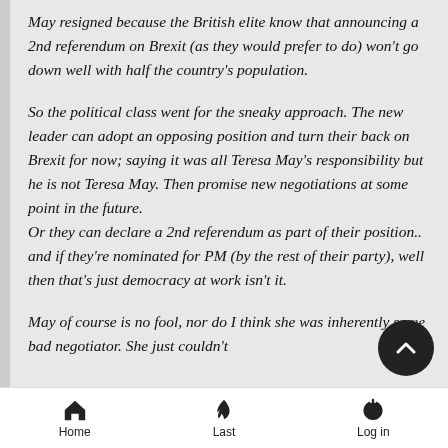May resigned because the British elite know that announcing a 2nd referendum on Brexit (as they would prefer to do) won't go down well with half the country's population.
So the political class went for the sneaky approach. The new leader can adopt an opposing position and turn their back on Brexit for now; saying it was all Teresa May's responsibility but he is not Teresa May. Then promise new negotiations at some point in the future.
Or they can declare a 2nd referendum as part of their position.. and if they're nominated for PM (by the rest of their party), well then that's just democracy at work isn't it.
May of course is no fool, nor do I think she was inherently some bad negotiator. She just couldn't
Home   Last   Log in